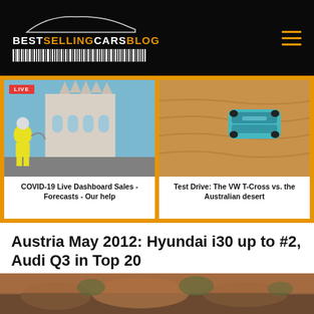BESTSELLINGCARSBLOG
[Figure (photo): Left featured card: Person in hazmat suit spraying disinfectant in front of Milan Cathedral (Duomo). LIVE badge in top left.]
COVID-19 Live Dashboard Sales - Forecasts - Our help
[Figure (photo): Right featured card: Aerial view of a teal/blue VW T-Cross driving on red/orange Australian desert sand.]
Test Drive: The VW T-Cross vs. the Australian desert
Austria May 2012: Hyundai i30 up to #2, Audi Q3 in Top 20
June 14, 2012   Matt Gasnier
[Figure (photo): Bottom partial photo strip showing a landscape/outdoor scene with brown and green tones.]